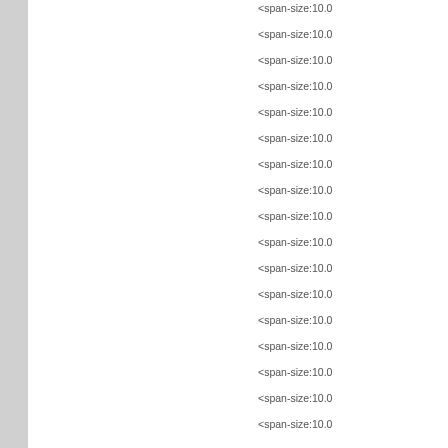<span-size:10.0
<span-size:10.0
<span-size:10.0
<span-size:10.0
<span-size:10.0
<span-size:10.0
<span-size:10.0
<span-size:10.0
<span-size:10.0
<span-size:10.0
<span-size:10.0
<span-size:10.0
<span-size:10.0
<span-size:10.0
<span-size:10.0
<span-size:10.0
<span-size:10.0